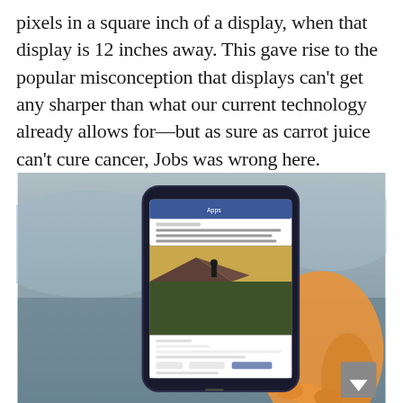pixels in a square inch of a display, when that display is 12 inches away. This gave rise to the popular misconception that displays can't get any sharper than what our current technology already allows for—but as sure as carrot juice can't cure cancer, Jobs was wrong here.
[Figure (photo): A hand holding a smartphone displaying a Facebook post with a photo of a person hiking on a mountain landscape. The background is a blurred outdoor scene.]